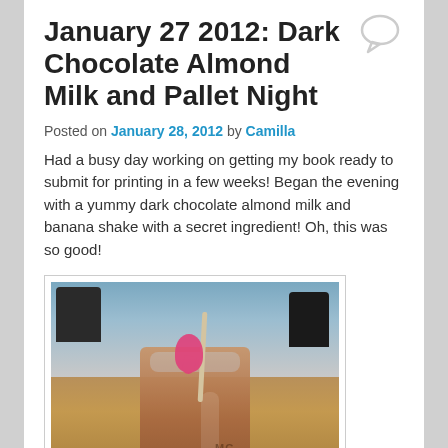January 27 2012: Dark Chocolate Almond Milk and Pallet Night
Posted on January 28, 2012 by Camilla
Had a busy day working on getting my book ready to submit for printing in a few weeks! Began the evening with a yummy dark chocolate almond milk and banana shake with a secret ingredient! Oh, this was so good!
[Figure (photo): A glass of dark chocolate almond milk banana shake with a pink flamingo stirrer and a wooden stick straw, sitting on a granite countertop with chairs and a room visible in the background.]